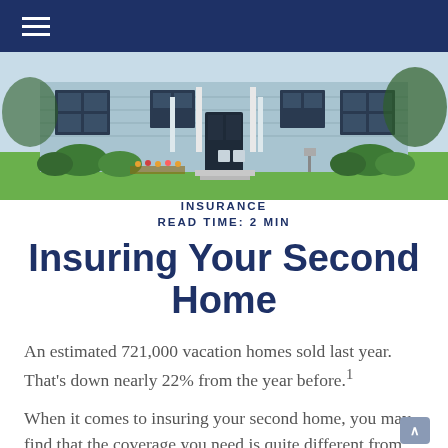Navigation bar with hamburger menu
[Figure (photo): Exterior photo of a blue single-story home with green lawn, white columns, shutters, and landscaping]
INSURANCE
READ TIME: 2 MIN
Insuring Your Second Home
An estimated 721,000 vacation homes sold last year. That's down nearly 22% from the year before.¹
When it comes to insuring your second home, you may find that the coverage you need is quite different from what you have on your primary home.